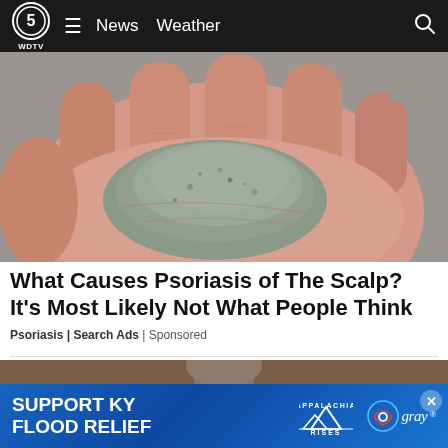WDTV 5 | News Weather
[Figure (photo): Close-up photo of a hand palm holding a pile of gray-green dust or powder, possibly skin flakes, against a gray background]
What Causes Psoriasis of The Scalp? It's Most Likely Not What People Think
Psoriasis | Search Ads | Sponsored
[Figure (photo): Partial photo showing a light bulb against a brown background, partially obscured by advertisement banner]
[Figure (infographic): Advertisement banner: SUPPORT KY FLOOD RELIEF with Appalachia Rises logo and Gray television network logo]